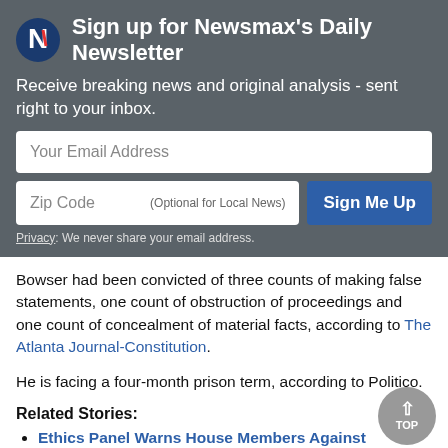Sign up for Newsmax's Daily Newsletter
Receive breaking news and original analysis - sent right to your inbox.
Your Email Address
Zip Code    (Optional for Local News)
Sign Me Up
Privacy: We never share your email address.
Bowser had been convicted of three counts of making false statements, one count of obstruction of proceedings and one count of concealment of material facts, according to The Atlanta Journal-Constitution.
He is facing a four-month prison term, according to Politico.
Related Stories:
Ethics Panel Warns House Members Against 'Deepfake' Posts